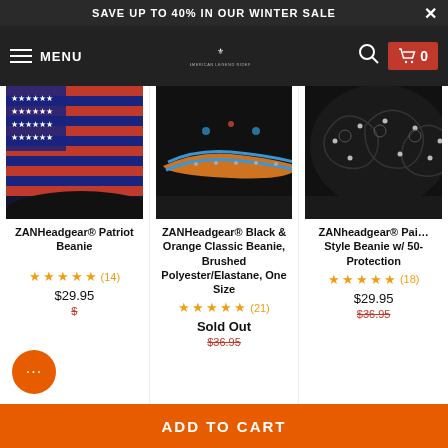SAVE UP TO 40% IN OUR WINTER SALE
[Figure (screenshot): Navigation bar with hamburger menu, MENU text, American Legend Rider logo, search icon, and cart button showing 0]
[Figure (photo): ZANHeadgear Patriot Beanie with American flag pattern]
ZANHeadgear® Patriot Beanie
★★★★★ (14)
$29.95
[Figure (photo): ZANHeadgear Black & Orange Classic Beanie with decorative paisley pattern and rhinestones]
ZANHeadgear® Black & Orange Classic Beanie, Brushed Polyester/Elastane, One Size
★★★★★ (21)
Sold Out
$36.95
[Figure (photo): ZANheadgear Paisley Style Beanie with black paisley pattern and rhinestones]
ZANheadgear® Paisley Style Beanie w/ 50- Protection
★★★★★ (18)
$29.95
$36.95
ADD TO CART